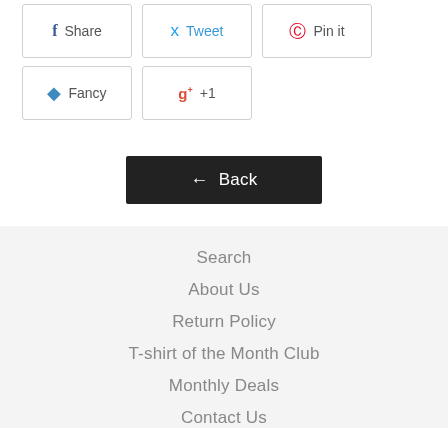[Figure (screenshot): Social share buttons row: Share (Facebook), Tweet (Twitter), Pin it (Pinterest)]
[Figure (screenshot): Social share buttons row: Fancy, +1 (Google Plus)]
[Figure (screenshot): Back button with left arrow, dark background]
Search
About Us
Return Policy
T-shirt of the Month Club
Monthly Deals
Contact Us